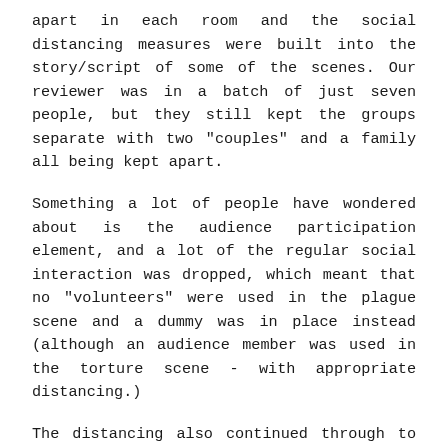apart in each room and the social distancing measures were built into the story/script of some of the scenes. Our reviewer was in a batch of just seven people, but they still kept the groups separate with two "couples" and a family all being kept apart.
Something a lot of people have wondered about is the audience participation element, and a lot of the regular social interaction was dropped, which meant that no "volunteers" were used in the plague scene and a dummy was in place instead (although an audience member was used in the torture scene - with appropriate distancing.)
The distancing also continued through to the boat ride with each group having their own boat, and being kept away from other guests.